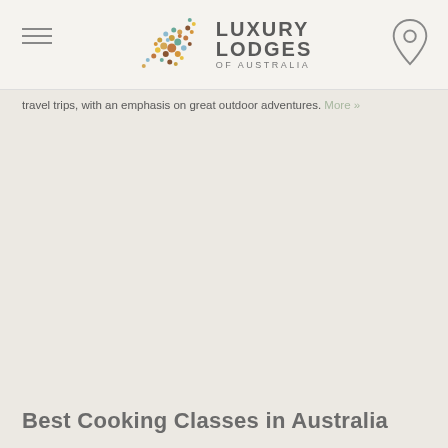Luxury Lodges of Australia
travel trips, with an emphasis on great outdoor adventures. More »
Best Cooking Classes in Australia